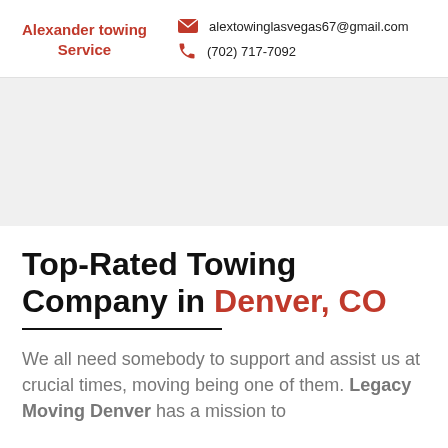Alexander towing Service | alextowinglasvegas67@gmail.com | (702) 717-7092
[Figure (other): Gray placeholder image area]
Top-Rated Towing Company in Denver, CO
We all need somebody to support and assist us at crucial times, moving being one of them. Legacy Moving Denver has a mission to